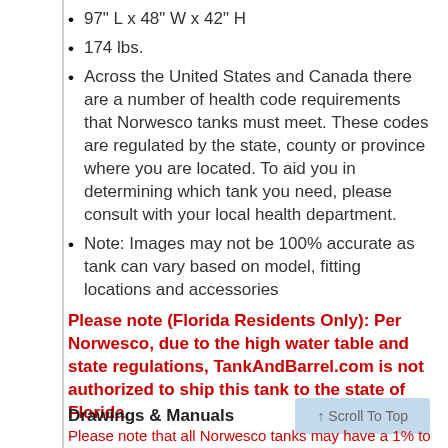97" L x 48" W x 42" H
174 lbs.
Across the United States and Canada there are a number of health code requirements that Norwesco tanks must meet. These codes are regulated by the state, county or province where you are located. To aid you in determining which tank you need, please consult with your local health department.
Note: Images may not be 100% accurate as tank can vary based on model, fitting locations and accessories
Please note (Florida Residents Only): Per Norwesco, due to the high water table and state regulations, TankAndBarrel.com is not authorized to ship this tank to the state of Florida.
Drawings & Manuals
Please note that all Norwesco tanks may have a 1% to